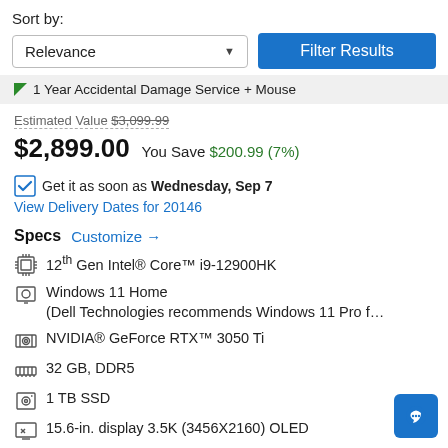Sort by:
Relevance ▼
Filter Results
1 Year Accidental Damage Service + Mouse
Estimated Value $3,099.99
$2,899.00 You Save $200.99 (7%)
Get it as soon as Wednesday, Sep 7
View Delivery Dates for 20146
Specs Customize →
12th Gen Intel® Core™ i9-12900HK
Windows 11 Home (Dell Technologies recommends Windows 11 Pro f...
NVIDIA® GeForce RTX™ 3050 Ti
32 GB, DDR5
1 TB SSD
15.6-in. display 3.5K (3456X2160) OLED